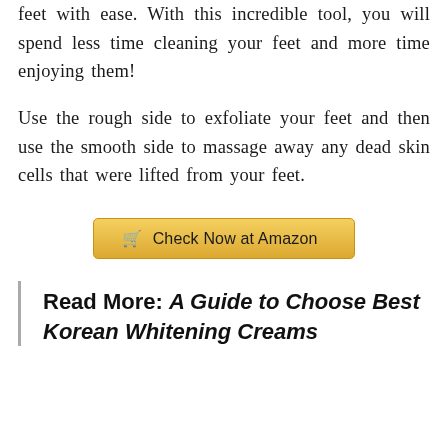The design allows you to reach all areas of your feet with ease. With this incredible tool, you will spend less time cleaning your feet and more time enjoying them!
Use the rough side to exfoliate your feet and then use the smooth side to massage away any dead skin cells that were lifted from your feet.
🛒 Check Now at Amazon
Read More: A Guide to Choose Best Korean Whitening Creams